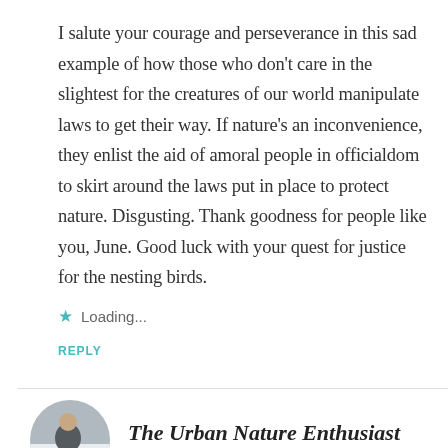I salute your courage and perseverance in this sad example of how those who don't care in the slightest for the creatures of our world manipulate laws to get their way. If nature's an inconvenience, they enlist the aid of amoral people in officialdom to skirt around the laws put in place to protect nature. Disgusting. Thank goodness for people like you, June. Good luck with your quest for justice for the nesting birds.
★ Loading...
REPLY
The Urban Nature Enthusiast